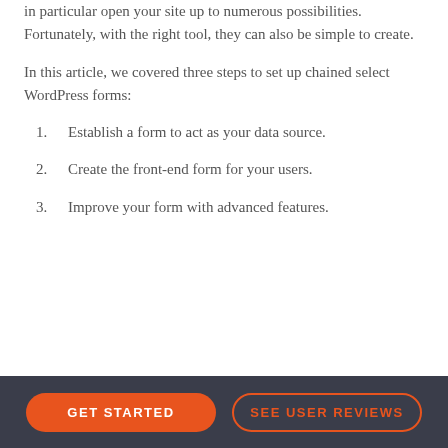in particular open your site up to numerous possibilities. Fortunately, with the right tool, they can also be simple to create.
In this article, we covered three steps to set up chained select WordPress forms:
Establish a form to act as your data source.
Create the front-end form for your users.
Improve your form with advanced features.
GET STARTED | SEE USER REVIEWS